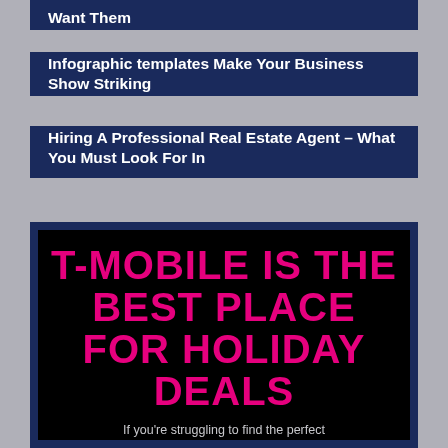Want Them
Infographic templates Make Your Business Show Striking
Hiring A Professional Real Estate Agent – What You Must Look For In
[Figure (infographic): T-Mobile advertisement: black background with large magenta bold uppercase text reading 'T-MOBILE IS THE BEST PLACE FOR HOLIDAY DEALS', followed by partial white text 'If you're struggling to find the perfect']